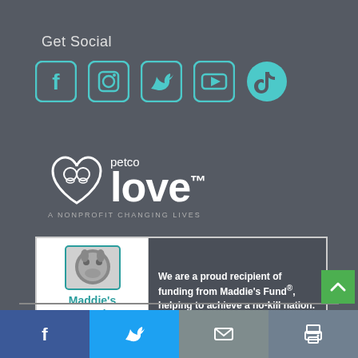Get Social
[Figure (infographic): Five social media icons: Facebook, Instagram, Twitter, YouTube, TikTok in teal/cyan color on dark background]
[Figure (logo): Petco Love logo - heart with pets icon and text 'petco love. A NONPROFIT CHANGING LIVES' in white on dark background]
[Figure (infographic): Maddie's Fund sponsorship badge with dog photo, teal Maddie's Fund text, #ThanksToMaddie hashtag, and text: We are a proud recipient of funding from Maddie's Fund®, helping to achieve a no-kill nation.]
[Figure (infographic): Bottom social sharing bar with four buttons: Facebook (blue), Twitter (light blue), Email (gray), Print (gray)]